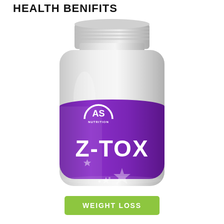HEALTH BENIFITS
[Figure (photo): A supplement bottle labeled Z-TOX by AS Nutrition. The bottle has a white cap and body with a purple label featuring the AS Nutrition logo and the product name Z-TOX in large white letters, with star decorations at the bottom of the label.]
WEIGHT LOSS